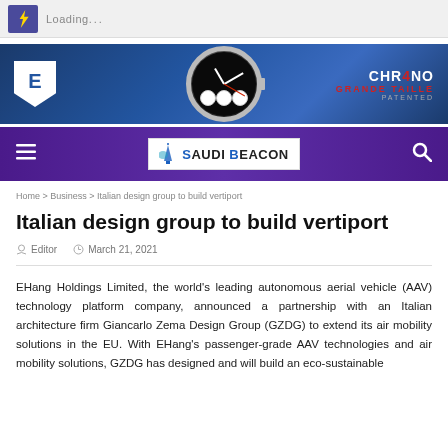Loading...
[Figure (illustration): Advertisement banner for Chrono Grande Taille Patented watch brand with blue gradient background, shield logo with letter E, watch image in center, and brand text on right]
Saudi Beacon navigation bar with hamburger menu and search icon
Home > Business > Italian design group to build vertiport
Italian design group to build vertiport
Editor   March 21, 2021
EHang Holdings Limited, the world's leading autonomous aerial vehicle (AAV) technology platform company, announced a partnership with an Italian architecture firm Giancarlo Zema Design Group (GZDG) to extend its air mobility solutions in the EU. With EHang's passenger-grade AAV technologies and air mobility solutions, GZDG has designed and will build an eco-sustainable